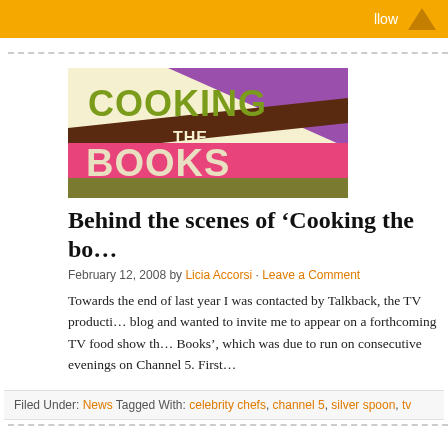llow
[Figure (illustration): Cooking the Books TV show logo with colorful text on background of cream, purple, brown, pink, and olive green segments]
Behind the scenes of ‘Cooking the bo…
February 12, 2008 by Licia Accorsi · Leave a Comment
Towards the end of last year I was contacted by Talkback, the TV producti… blog and wanted to invite me to appear on a forthcoming TV food show th… Books’, which was due to run on consecutive evenings on Channel 5. First…
Filed Under: News Tagged With: celebrity chefs, channel 5, silver spoon, tv